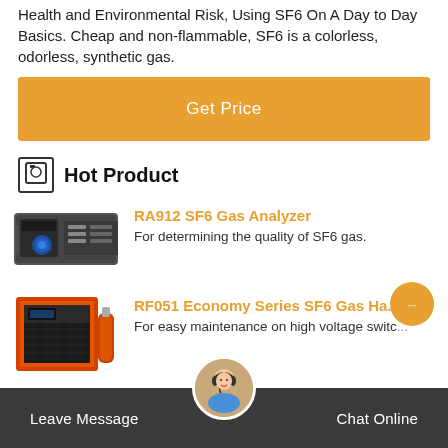Health and Environmental Risk, Using SF6 On A Day to Day Basics. Cheap and non-flammable, SF6 is a colorless, odorless, synthetic gas.
Get Price
Hot Product
RA912 SF6 Gas Analyzer
For determining the quality of SF6 gas.
[Figure (photo): RA912 SF6 Gas Analyzer device - a rack-mounted instrument with display and blue circular element]
RF051 Economy Series SF6 Gas Ha...
For easy maintenance on high voltage switc...
[Figure (photo): RF051 Economy Series SF6 Gas Handling device - orange and black rack-mounted equipment]
Leave Message   Chat Online